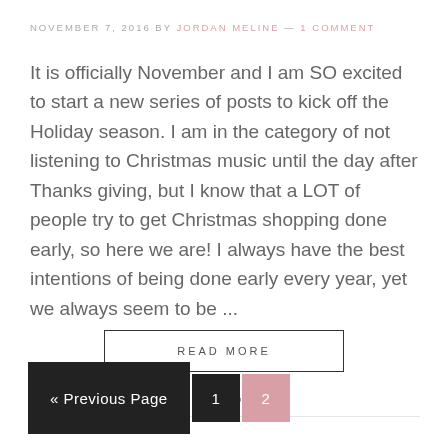NOVEMBER 7, 2016 BY JORDAN MELINE — 1 COMMENT
It is officially November and I am SO excited to start a new series of posts to kick off the Holiday season. I am in the category of not listening to Christmas music until the day after Thanksgiving, but I know that a LOT of people try to get Christmas shopping done early, so here we are! I always have the best intentions of being done early every year, yet we always seem to be ...
READ MORE
g+ Share  f  Tweet  p  in  su
« Previous Page  1  2